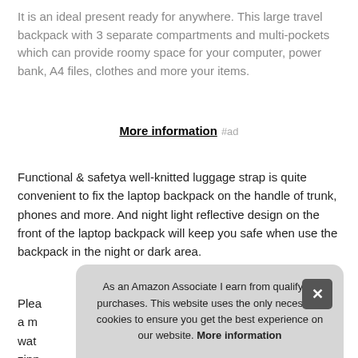It is an ideal present ready for anywhere. This large travel backpack with 3 separate compartments and multi-pockets which can provide roomy space for your computer, power bank, A4 files, clothes and more your items.
More information #ad
Functional & safetya well-knitted luggage strap is quite convenient to fix the laptop backpack on the handle of trunk, phones and more. And night light reflective design on the front of the laptop backpack will keep you safe when use the backpack in the night or dark area.
Please [partially obscured text] a m... wat... zipp...
As an Amazon Associate I earn from qualifying purchases. This website uses the only necessary cookies to ensure you get the best experience on our website. More information